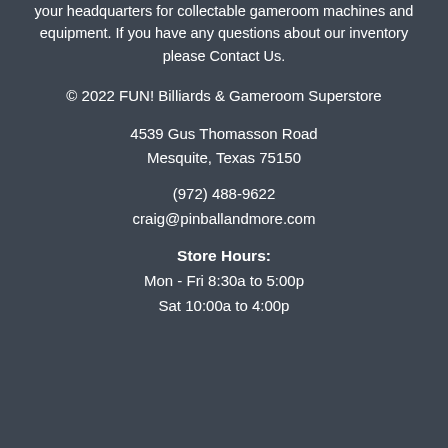your headquarters for collectable gameroom machines and equipment. If you have any questions about our inventory please Contact Us.
© 2022 FUN! Billiards & Gameroom Superstore
4539 Gus Thomasson Road
Mesquite, Texas 75150
(972) 488-9622
craig@pinballandmore.com
Store Hours:
Mon - Fri 8:30a to 5:00p
Sat 10:00a to 4:00p